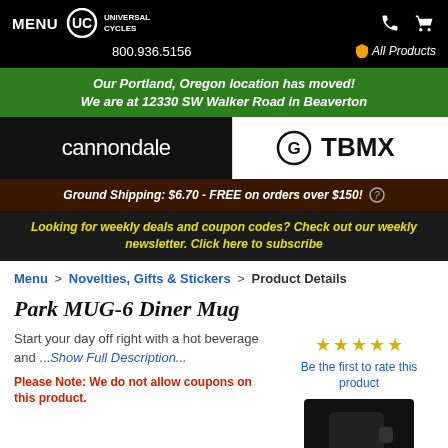MENU | UC UNIVERSAL CYCLES | 800.936.5156 | All Products
Our Portland, Oregon location has moved! We are at 12330 SW Walker Road in Beaverton
[Figure (logo): Cannondale logo on black background (left) and GT BMX logo on white background (right)]
Ground Shipping: $6.70 - FREE on orders over $150! (?)
Looking for weekly deals and coupon codes? Check out our weekly newsletter. Click here to subscribe
Menu > Novelties, Gifts & Stickers > Product Details
Park MUG-6 Diner Mug
Start your day off right with a hot beverage and ...Show Full Description...
Please Note: We do not allow coupons on this product.
Be the first to rate this product